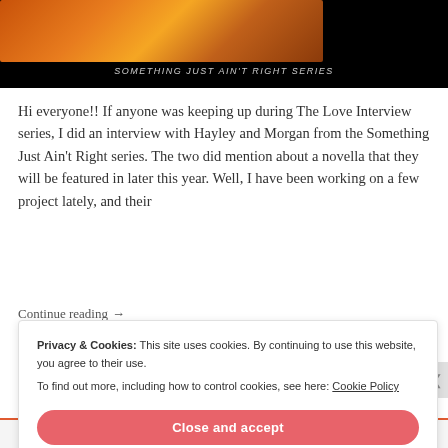[Figure (illustration): Dark book cover style image with orange/amber gradient sunset sky at top, black background, with italic text 'SOMETHING JUST AIN'T RIGHT SERIES']
Hi everyone!! If anyone was keeping up during The Love Interview series, I did an interview with Hayley and Morgan from the Something Just Ain't Right series. The two did mention about a novella that they will be featured in later this year. Well, I have been working on a few project lately, and their
Continue reading →
Privacy & Cookies: This site uses cookies. By continuing to use this website, you agree to their use.
To find out more, including how to control cookies, see here: Cookie Policy
Close and accept